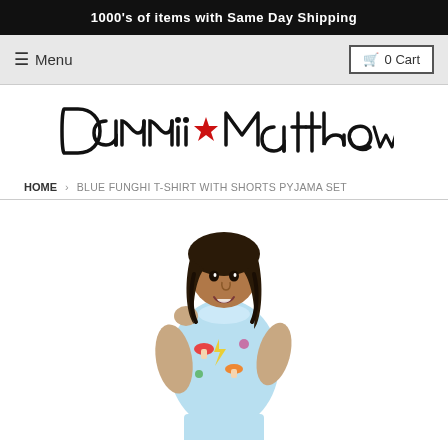1000's of items with Same Day Shipping
≡ Menu | 🛒 0 Cart
[Figure (logo): Dannii Matthews handwritten-style logo with a red star between the first and last name]
HOME › BLUE FUNGHI T-SHIRT WITH SHORTS PYJAMA SET
[Figure (photo): A young woman with dark curly hair posing with one hand raised near her face, wearing a light blue short-sleeve t-shirt and shorts pyjama set printed with colorful mushroom/fungi and lightning bolt patterns]